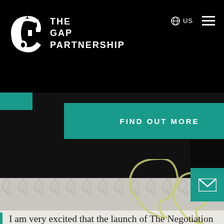THE GAP PARTNERSHIP
FIND OUT MORE
I am very excited that the launch of The Negotiation Society enables us for the first time to connect a global community of negotiators, as well as providing them